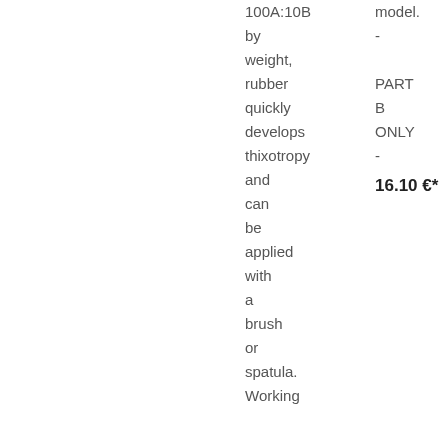100A:10B by weight, rubber quickly develops thixotropy and can be applied with a brush or spatula. Working
model. - PART B ONLY - 16.10 €*